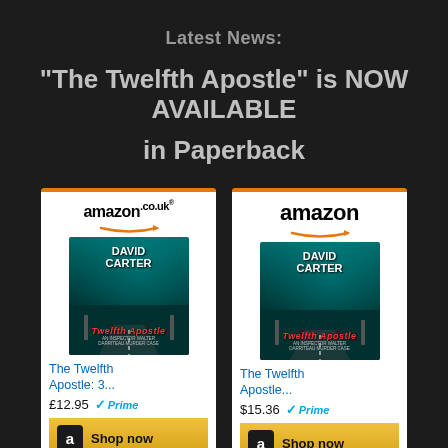Latest News:
"The Twelfth Apostle" is NOW AVAILABLE in Paperback
[Figure (screenshot): Amazon.co.uk widget showing The Twelfth Apostle: 3... priced at £12.95 with Prime, Shop now button]
[Figure (screenshot): Amazon.com widget showing The Twelfth Apostle... priced at $15.36 with Prime, Shop now button]